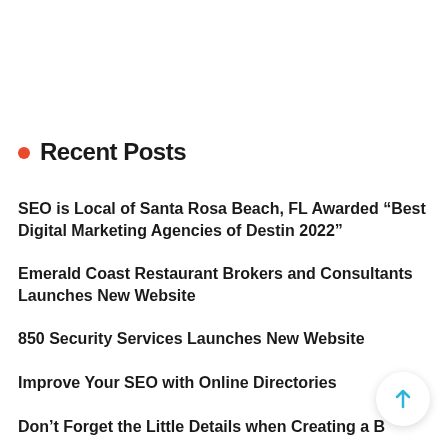Recent Posts
SEO is Local of Santa Rosa Beach, FL Awarded “Best Digital Marketing Agencies of Destin 2022”
Emerald Coast Restaurant Brokers and Consultants Launches New Website
850 Security Services Launches New Website
Improve Your SEO with Online Directories
Don’t Forget the Little Details when Creating a B…